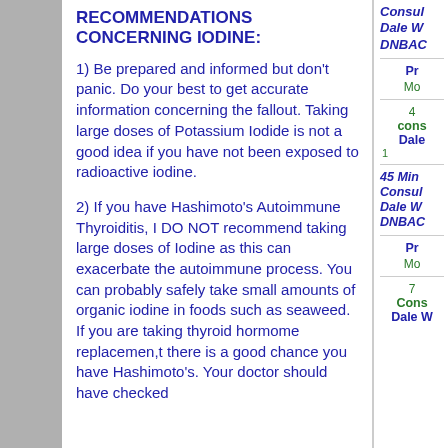RECOMMENDATIONS CONCERNING IODINE:
1)  Be prepared and informed but don't panic.  Do your best to get accurate information concerning the fallout.  Taking large doses of Potassium Iodide is not a good idea if you have not been exposed to radioactive iodine.
2)  If you have Hashimoto's Autoimmune Thyroiditis, I DO NOT recommend taking large doses of Iodine as this can exacerbate the autoimmune process. You can probably safely take small amounts of organic iodine in foods such as seaweed.  If you are taking thyroid hormome replacemen,t there is a good chance you have Hashimoto's.  Your doctor should have checked
Consultation with Dale W... DNBAC...
Pr...
Mo...
4 ...consultation Dale... 45 Min... Consultation Dale W... DNBAC... Pr... Mo... 7 ... Consultation Dale W...